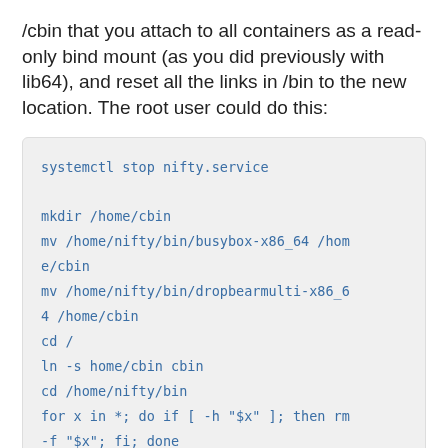/cbin that you attach to all containers as a read-only bind mount (as you did previously with lib64), and reset all the links in /bin to the new location. The root user could do this:
systemctl stop nifty.service

mkdir /home/cbin
mv /home/nifty/bin/busybox-x86_64 /home/cbin
mv /home/nifty/bin/dropbearmulti-x86_64 /home/cbin
cd /
ln -s home/cbin cbin
cd /home/nifty/bin
for x in *; do if [ -h "$x" ]; then rm -f "$x"; fi; done